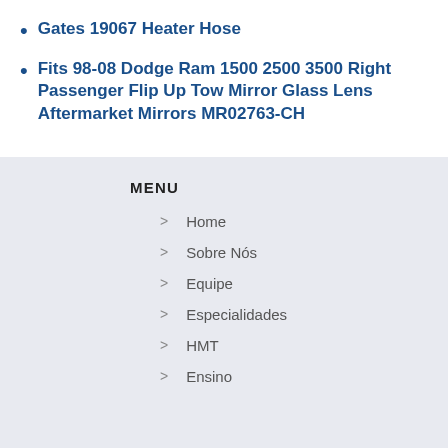Gates 19067 Heater Hose
Fits 98-08 Dodge Ram 1500 2500 3500 Right Passenger Flip Up Tow Mirror Glass Lens Aftermarket Mirrors MR02763-CH
MENU
> Home
> Sobre Nós
> Equipe
> Especialidades
> HMT
> Ensino